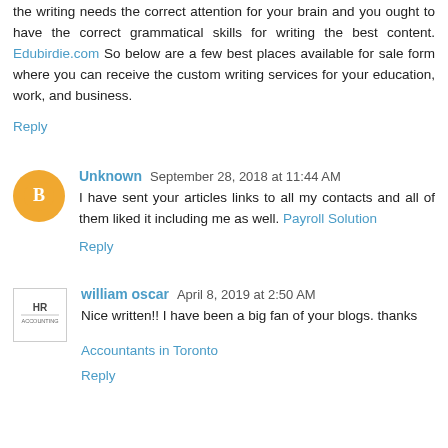the writing needs the correct attention for your brain and you ought to have the correct grammatical skills for writing the best content. Edubirdie.com So below are a few best places available for sale form where you can receive the custom writing services for your education, work, and business.
Reply
Unknown  September 28, 2018 at 11:44 AM
I have sent your articles links to all my contacts and all of them liked it including me as well. Payroll Solution
Reply
william oscar  April 8, 2019 at 2:50 AM
Nice written!! I have been a big fan of your blogs. thanks
Accountants in Toronto
Reply